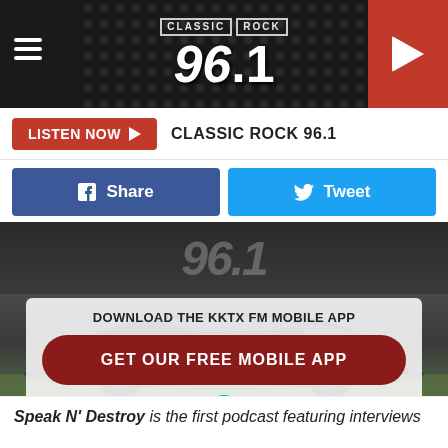Classic Rock 96.1
LISTEN NOW ▶  CLASSIC ROCK 96.1
Share   Tweet
[Figure (screenshot): Car image in background with app download promo overlay showing 'DOWNLOAD THE KKTX FM MOBILE APP', 'GET OUR FREE MOBILE APP' button, and 'Also listen on: amazon alexa']
eBay
Speak N' Destroy is the first podcast featuring interviews